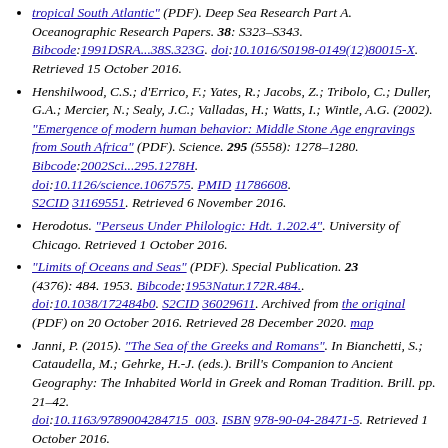(PDF). Deep Sea Research Part A. Oceanographic Research Papers. 38: S323–S343. Bibcode:1991DSRA...38S.323G. doi:10.1016/S0198-0149(12)80015-X. Retrieved 15 October 2016.
Henshilwood, C.S.; d'Errico, F.; Yates, R.; Jacobs, Z.; Tribolo, C.; Duller, G.A.; Mercier, N.; Sealy, J.C.; Valladas, H.; Watts, I.; Wintle, A.G. (2002). "Emergence of modern human behavior: Middle Stone Age engravings from South Africa" (PDF). Science. 295 (5558): 1278–1280. Bibcode:2002Sci...295.1278H. doi:10.1126/science.1067575. PMID 11786608. S2CID 31169551. Retrieved 6 November 2016.
Herodotus. "Perseus Under Philologic: Hdt. 1.202.4". University of Chicago. Retrieved 1 October 2016.
"Limits of Oceans and Seas" (PDF). Special Publication. 23 (4376): 484. 1953. Bibcode:1953Natur.172R.484.. doi:10.1038/172484b0. S2CID 36029611. Archived from the original (PDF) on 20 October 2016. Retrieved 28 December 2020. map
Janni, P. (2015). "The Sea of the Greeks and Romans". In Bianchetti, S.; Cataudella, M.; Gehrke, H.-J. (eds.). Brill's Companion to Ancient Geography: The Inhabited World in Greek and Roman Tradition. Brill. pp. 21–42. doi:10.1163/9789004284715_003. ISBN 978-90-04-28471-5. Retrieved 1 October 2016.